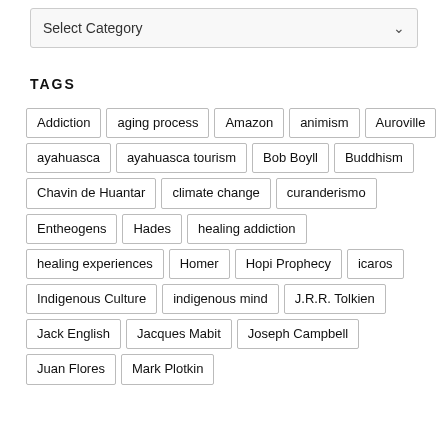[Figure (screenshot): A dropdown select box labeled 'Select Category' with a chevron indicator on the right]
TAGS
Addiction
aging process
Amazon
animism
Auroville
ayahuasca
ayahuasca tourism
Bob Boyll
Buddhism
Chavin de Huantar
climate change
curanderismo
Entheogens
Hades
healing addiction
healing experiences
Homer
Hopi Prophecy
icaros
Indigenous Culture
indigenous mind
J.R.R. Tolkien
Jack English
Jacques Mabit
Joseph Campbell
Juan Flores
Mark Plotkin